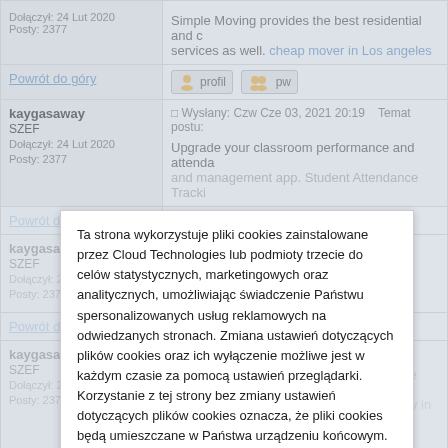| User Info | Post Content |
| --- | --- |
| Dołączył: 24 Lut 2020
Posty: 2377 | Simple Moving provides the best residential and c... services as well. cheap mover in Los angeles |
| Powrót do góry | [profil] [pw] |
| kaygasaway
SZEF
Dołączył: 24 Lut 2020
Posty: 2377 | Wysłany: Czw Cze 03, 2021 20:19  Temat postu:
Upgrade your classroom performance and attenda... and management app. Student Attendance Tracki... |
| Powrót do... (faded) | (faded row) |
| kaygasaway
SZEF
(faded) | (faded content) I'll bookmark your blog and... regard, th... |
| Powrót do... (faded) |  |
| kaygasaway
SZEF
(faded) | Temat postu: (faded) |
| Dołączył: 24 Lut 2020
Posty: 2377 (faded) | Since 2007 Migdigitizing has served online 6000+... turned into international digitizing company in 200... and complex designs with perfection... |
Ta strona wykorzystuje pliki cookies zainstalowane przez Cloud Technologies lub podmioty trzecie do celów statystycznych, marketingowych oraz analitycznych, umożliwiając świadczenie Państwu spersonalizowanych usług reklamowych na odwiedzanych stronach. Zmiana ustawień dotyczących plików cookies oraz ich wyłączenie możliwe jest w każdym czasie za pomocą ustawień przeglądarki. Korzystanie z tej strony bez zmiany ustawień dotyczących plików cookies oznacza, że pliki cookies będą umieszczane w Państwa urządzeniu końcowym. Więcej informacji dotyczących wykorzystania plików cookies znajdziecie Państwo w naszej Polityce Prywatności